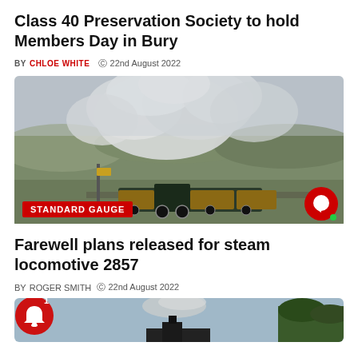Class 40 Preservation Society to hold Members Day in Bury
BY CHLOE WHITE  © 22nd August 2022
[Figure (photo): A steam locomotive pulling carriages through countryside with large billowing smoke clouds, with STANDARD GAUGE badge overlay]
Farewell plans released for steam locomotive 2857
BY ROGER SMITH  © 22nd August 2022
[Figure (photo): Partial view of a steam locomotive emitting smoke against a blue sky with trees in background, with notification bell icon overlay]